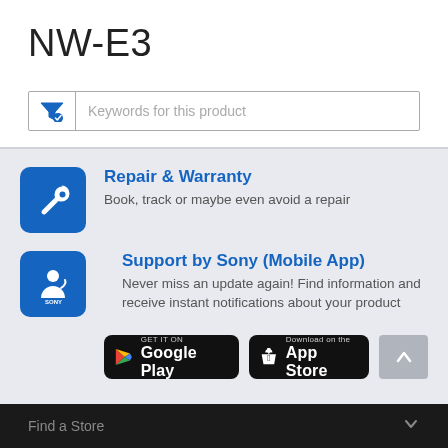NW-E3
[Figure (screenshot): Search filter input box with funnel icon and placeholder text 'Keywords for this product']
[Figure (infographic): Repair & Warranty service item with wrench icon on blue background, link text 'Repair & Warranty', description 'Book, track or maybe even avoid a repair']
[Figure (infographic): Support by Sony (Mobile App) service item with Sony support icon on blue background, link text 'Support by Sony (Mobile App)', description 'Never miss an update again! Find information and receive instant notifications about your product', with Google Play and App Store download buttons]
Find a Store